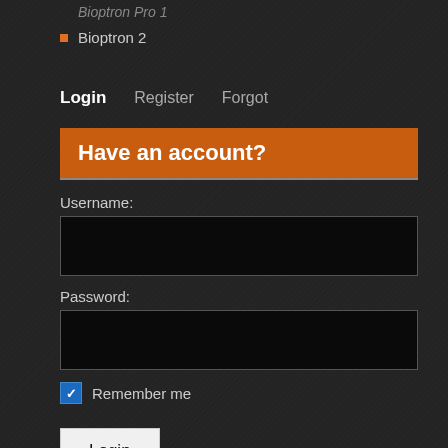Bioptron Pro 1
Bioptron 2
Login   Register   Forgot
Have an account?
Username:
Password:
Remember me
Login